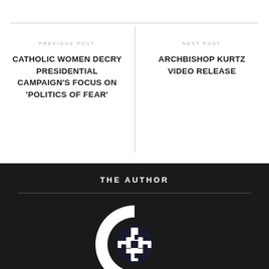PREVIOUS POST
CATHOLIC WOMEN DECRY PRESIDENTIAL CAMPAIGN'S FOCUS ON 'POLITICS OF FEAR'
NEXT POST
ARCHBISHOP KURTZ VIDEO RELEASE
THE AUTHOR
[Figure (logo): Catholic organization logo: a large white letter C with a cross-pattern emblem inside on dark background]